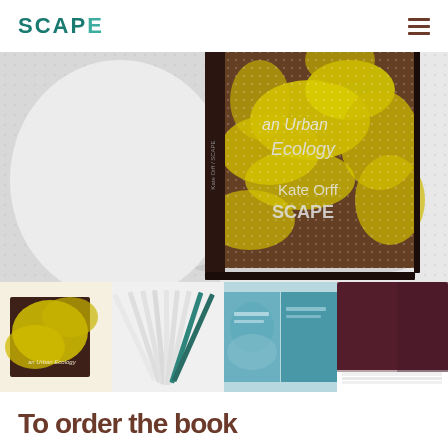SCAPE
[Figure (photo): Hero image of a book titled 'an Urban Ecology' by Kate Orff / SCAPE, with yellow botanical pattern on dark brown/maroon cover, shown standing upright against a white background with subtle dot pattern]
[Figure (photo): Thumbnail 1: Close-up of book cover with yellow organic pattern and text 'an Urban Ecology']
[Figure (photo): Thumbnail 2: Fanned pages of the book with teal/dark colored edges]
[Figure (photo): Thumbnail 3: Open book spread showing blue/teal illustrated pages]
[Figure (photo): Thumbnail 4: Close-up of dark maroon/burgundy book cover corner]
To order the book